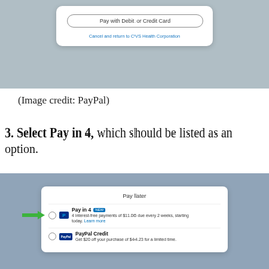[Figure (screenshot): PayPal checkout screen showing 'Pay with Debit or Credit Card' button and 'Cancel and return to CVS Health Corporation' link on a blue-grey background with a white card.]
(Image credit: PayPal)
3. Select Pay in 4, which should be listed as an option.
[Figure (screenshot): PayPal 'Pay later' options screen showing Pay in 4 (with NEW badge) with arrow pointing to it: '4 interest-free payments of $11.06 due every 2 weeks, starting today. Learn more' and PayPal Credit option: 'Get $20 off your purchase of $44.23 for a limited time.']